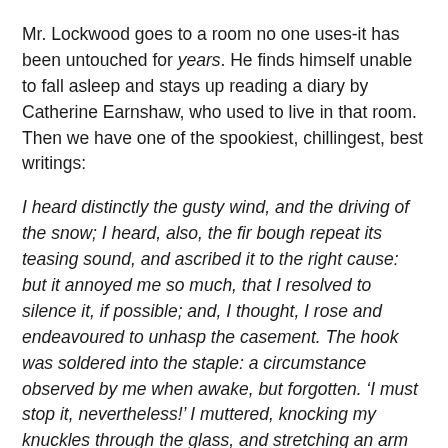Mr. Lockwood goes to a room no one uses-it has been untouched for years. He finds himself unable to fall asleep and stays up reading a diary by Catherine Earnshaw, who used to live in that room. Then we have one of the spookiest, chillingest, best writings:
I heard distinctly the gusty wind, and the driving of the snow; I heard, also, the fir bough repeat its teasing sound, and ascribed it to the right cause: but it annoyed me so much, that I resolved to silence it, if possible; and, I thought, I rose and endeavoured to unhasp the casement. The hook was soldered into the staple: a circumstance observed by me when awake, but forgotten. ‘I must stop it, nevertheless!’ I muttered, knocking my knuckles through the glass, and stretching an arm out to seize the importunate branch; instead of which, my fingers closed